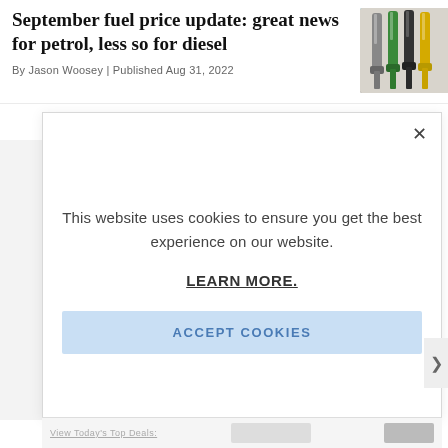September fuel price update: great news for petrol, less so for diesel
By Jason Woosey | Published Aug 31, 2022
[Figure (photo): Photo of fuel pump nozzles in a row, colorful handles]
This website uses cookies to ensure you get the best experience on our website.
LEARN MORE.
ACCEPT COOKIES
View Today's Top Deals: